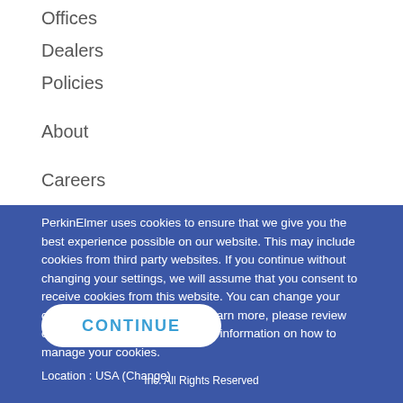Offices
Dealers
Policies
About
Careers
Company Information
Events
Press Room
Investors
Accessibility
PerkinElmer uses cookies to ensure that we give you the best experience possible on our website. This may include cookies from third party websites. If you continue without changing your settings, we will assume that you consent to receive cookies from this website. You can change your cookie settings at any time. To learn more, please review our cookie policy, which includes information on how to manage your cookies.
Location : USA (Change)
CONTINUE
Inc. All Rights Reserved